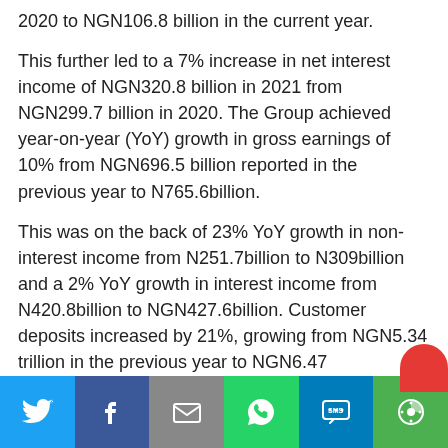2020 to NGN106.8 billion in the current year.
This further led to a 7% increase in net interest income of NGN320.8 billion in 2021 from NGN299.7 billion in 2020. The Group achieved year-on-year (YoY) growth in gross earnings of 10% from NGN696.5 billion reported in the previous year to N765.6billion.
This was on the back of 23% YoY growth in non-interest income from N251.7billion to N309billion and a 2% YoY growth in interest income from N420.8billion to NGN427.6billion. Customer deposits increased by 21%, growing from NGN5.34 trillion in the previous year to NGN6.47
[Figure (other): Social media sharing bar with icons for Twitter, Facebook, Email, WhatsApp, SMS, and More]